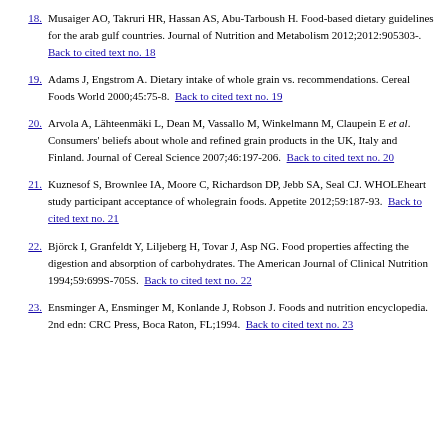18. Musaiger AO, Takruri HR, Hassan AS, Abu-Tarboush H. Food-based dietary guidelines for the arab gulf countries. Journal of Nutrition and Metabolism 2012;2012:905303-. Back to cited text no. 18
19. Adams J, Engstrom A. Dietary intake of whole grain vs. recommendations. Cereal Foods World 2000;45:75-8. Back to cited text no. 19
20. Arvola A, Lähteenmäki L, Dean M, Vassallo M, Winkelmann M, Claupein E et al. Consumers' beliefs about whole and refined grain products in the UK, Italy and Finland. Journal of Cereal Science 2007;46:197-206. Back to cited text no. 20
21. Kuznesof S, Brownlee IA, Moore C, Richardson DP, Jebb SA, Seal CJ. WHOLEheart study participant acceptance of wholegrain foods. Appetite 2012;59:187-93. Back to cited text no. 21
22. Björck I, Granfeldt Y, Liljeberg H, Tovar J, Asp NG. Food properties affecting the digestion and absorption of carbohydrates. The American Journal of Clinical Nutrition 1994;59:699S-705S. Back to cited text no. 22
23. Ensminger A, Ensminger M, Konlande J, Robson J. Foods and nutrition encyclopedia. 2nd edn: CRC Press, Boca Raton, FL;1994. Back to cited text no. 23